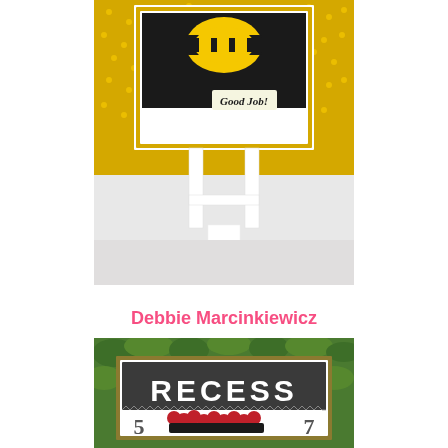[Figure (photo): A handmade greeting card on a white easel stand, featuring a bee graphic and 'Good Job!' text on a yellow and black background with polka dots.]
Debbie Marcinkiewicz
[Figure (photo): A handmade card placed outdoors against green foliage, featuring the word 'RECESS' in large white letters on a dark background, with decorative elements including numbers 5 and 7 and red flower-shaped embellishments.]